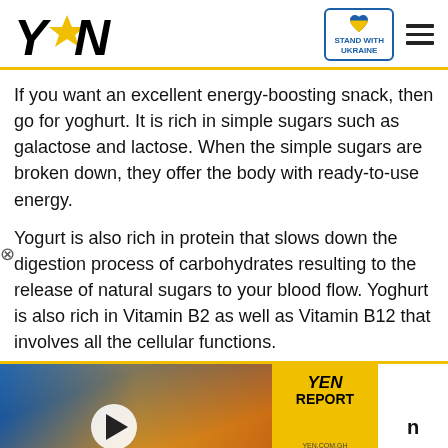YEN — STAND WITH UKRAINE
If you want an excellent energy-boosting snack, then go for yoghurt. It is rich in simple sugars such as galactose and lactose. When the simple sugars are broken down, they offer the body with ready-to-use energy.
Yogurt is also rich in protein that slows down the digestion process of carbohydrates resulting to the release of natural sugars to your blood flow. Yoghurt is also rich in Vitamin B2 as well as Vitamin B12 that involves all the cellular functions.
[Figure (screenshot): YEN Report video player showing Accra Beautification Project with yellow panel branding and red expand button]
[Figure (infographic): Donate bar: Help Protect Ukrainian Families with DONATE NOW button, Ukraine heart logo, and close X button]